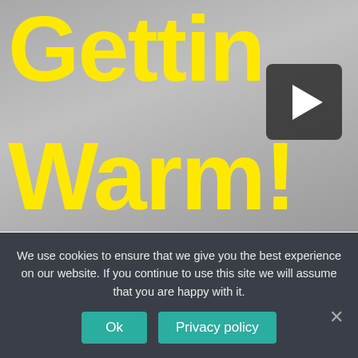[Figure (screenshot): Video thumbnail showing yellow bold text 'Gettin Warm!' on a metallic grey background with a play button icon in the upper right corner.]
Frost Free Fridge Freezer: How to
We use cookies to ensure that we give you the best experience on our website. If you continue to use this site we will assume that you are happy with it.